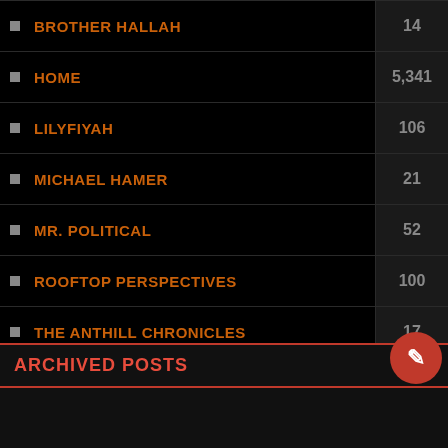BROTHER HALLAH
HOME
LILYFIYAH
MICHAEL HAMER
MR. POLITICAL
ROOFTOP PERSPECTIVES
THE ANTHILL CHRONICLES
THE IRRITATED GENIE
THE LANCESCURV SHOW PODCAST
THE WRITTEN WORD BY LANCESCURV
ARCHIVED POSTS